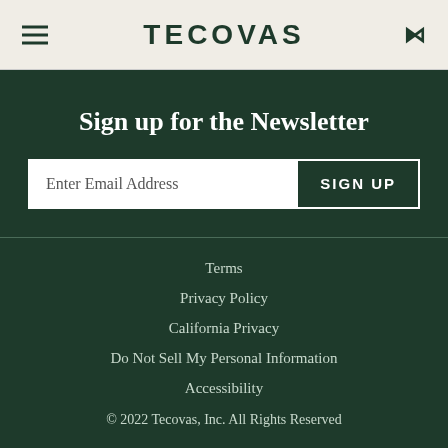TECOVAS
Sign up for the Newsletter
Enter Email Address
SIGN UP
Terms
Privacy Policy
California Privacy
Do Not Sell My Personal Information
Accessibility
© 2022 Tecovas, Inc. All Rights Reserved